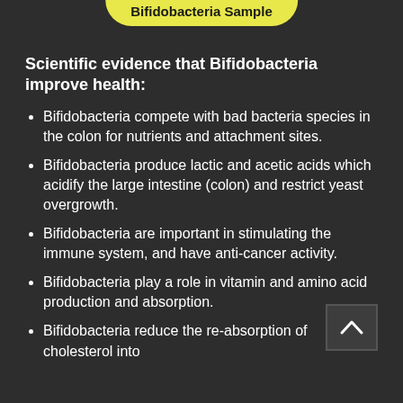Bifidobacteria Sample
Scientific evidence that Bifidobacteria improve health:
Bifidobacteria compete with bad bacteria species in the colon for nutrients and attachment sites.
Bifidobacteria produce lactic and acetic acids which acidify the large intestine (colon) and restrict yeast overgrowth.
Bifidobacteria are important in stimulating the immune system, and have anti-cancer activity.
Bifidobacteria play a role in vitamin and amino acid production and absorption.
Bifidobacteria reduce the re-absorption of cholesterol into